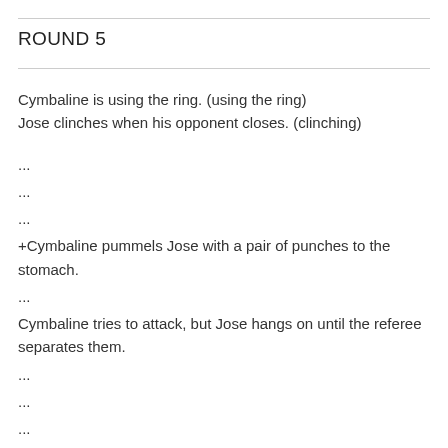ROUND 5
Cymbaline is using the ring. (using the ring)
Jose clinches when his opponent closes. (clinching)
...
...
...
+Cymbaline pummels Jose with a pair of punches to the stomach.
...
Cymbaline tries to attack, but Jose hangs on until the referee separates them.
...
...
...